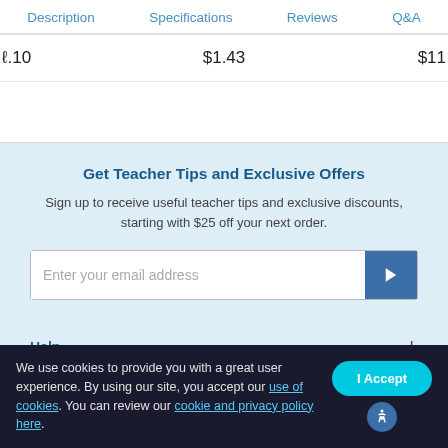Description   Specifications   Reviews   Q&A
1.10   $1.43   $11
Get Teacher Tips and Exclusive Offers
Sign up to receive useful teacher tips and exclusive discounts, starting with $25 off your next order.
Enter your email address
Help
We use cookies to provide you with a great user experience. By using our site, you accept our use of cookies. You can review our cookie and privacy policy here.